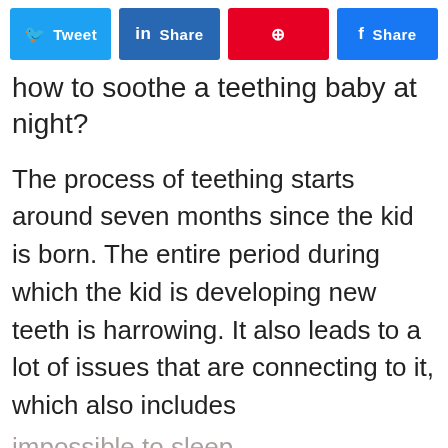[Figure (other): Social share buttons: Twitter, LinkedIn, Pinterest, Facebook]
how to soothe a teething baby at night?
The process of teething starts around seven months since the kid is born. The entire period during which the kid is developing new teeth is harrowing. It also leads to a lot of issues that are connecting to it, which also includes impossible to sleep.
The irritation that your kid has to deal with leads to him crying all the time.
We use cookies to ensure that we give you the best experience on our website. If you continue to use this site we will assume that you are happy with it.